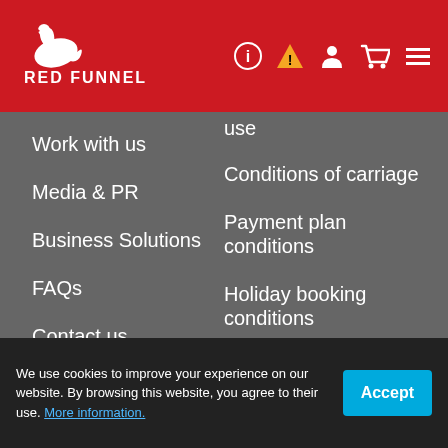[Figure (logo): Red Funnel logo — white swan/funnel icon above 'RED FUNNEL' text in white on red background]
Work with us
Media & PR
Business Solutions
FAQs
Contact us
use
Conditions of carriage
Payment plan conditions
Holiday booking conditions
Safety & Environment
Modern Slavery Statement
Job Application Privacy
Website feedback
© Copyright 2018
Employee Gateway
We use cookies to improve your experience on our website. By browsing this website, you agree to their use. More information.